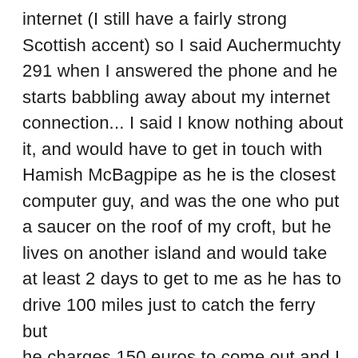internet (I still have a fairly strong Scottish accent) so I said Auchermuchty 291 when I answered the phone and he starts babbling away about my internet connection... I said I know nothing about it, and would have to get in touch with Hamish McBagpipe as he is the closest computer guy, and was the one who put a saucer on the roof of my croft, but he lives on another island and would take at least 2 days to get to me as he has to drive 100 miles just to catch the ferry but he charges 150 euros to come out and I can't afford it. I also told him I had to grow carrots & potatoes so I have something to eat and had to dry peat out to use for heating and cooking. I also told him I also had to use a generator to use when I lost power, then when I finished I told him he was an eejit and did not sound like any I've ever heard of. I also told him there wasn't any shops on